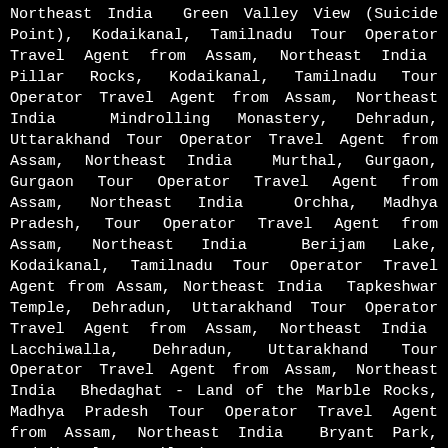Northeast India Green Valley View (Suicide Point), Kodaikanal, Tamilnadu Tour Operator Travel Agent from Assam, Northeast India Pillar Rocks, Kodaikanal, Tamilnadu Tour Operator Travel Agent from Assam, Northeast India Mindrolling Monastery, Dehradun, Uttarakhand Tour Operator Travel Agent from Assam, Northeast India Murthal, Gurgaon, Gurgaon Tour Operator Travel Agent from Assam, Northeast India Orchha, Madhya Pradesh, Tour Operator Travel Agent from Assam, Northeast India Berijam Lake, Kodaikanal, Tamilnadu Tour Operator Travel Agent from Assam, Northeast India Tapkeshwar Temple, Dehradun, Uttarakhand Tour Operator Travel Agent from Assam, Northeast India Lacchiwalla, Dehradun, Uttarakhand Tour Operator Travel Agent from Assam, Northeast India Bhedaghat - Land of the Marble Rocks, Madhya Pradesh Tour Operator Travel Agent from Assam, Northeast India Bryant Park, Kodaikanal, Tamilnadu Tour Operator Travel Agent from Assam, Northeast India Travel And Tourism Fair - Kolkata, 2017 Travel And Tourism Fair - Kolkata, 2017 Travel And Tourism Fair - Kolkata, 2017 Travel And Tourism Fair - Kolkata, 2017, 7th-9th July 2017 Leading B2B Travel Agent from Northeast - TTF Kolkata 2017 Best B2B Travel Agent from Northeast - TTF Kolkata 2017 Natural